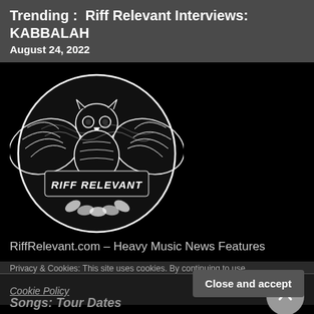Trending :  Riff Relevant Interviews: KABBALAH
August 24, 2022
[Figure (logo): Riff Relevant circular logo featuring an owl with spread wings above stylized text reading 'RIFF RELEVANT' with decorative flowers, black and white illustration on black background]
RiffRelevant.com – Heavy Music News Features
Privacy & Cookies: This site uses cookies. By continuing to use
Cookie Policy
Close and accept
Songs: Tour Dates